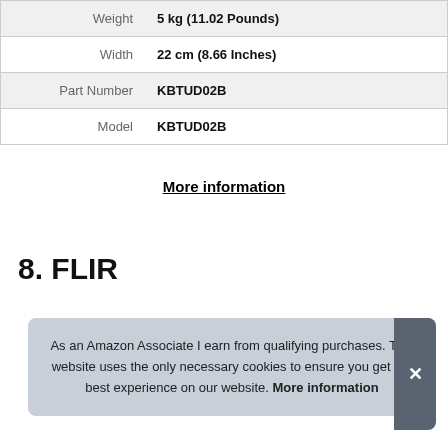| Attribute | Value |
| --- | --- |
| Weight | 5 kg (11.02 Pounds) |
| Width | 22 cm (8.66 Inches) |
| Part Number | KBTUD02B |
| Model | KBTUD02B |
More information
8. FLIR
As an Amazon Associate I earn from qualifying purchases. This website uses the only necessary cookies to ensure you get the best experience on our website. More information